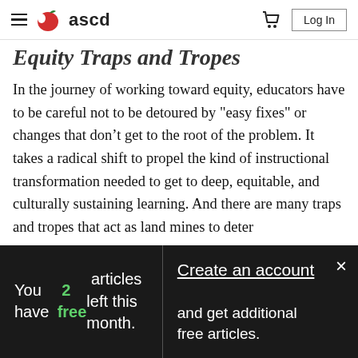ascd — navigation bar with hamburger menu, cart icon, and Log In button
Equity Traps and Tropes
In the journey of working toward equity, educators have to be careful not to be detoured by "easy fixes" or changes that don't get to the root of the problem. It takes a radical shift to propel the kind of instructional transformation needed to get to deep, equitable, and culturally sustaining learning. And there are many traps and tropes that act as land mines to deter
You have 2 free articles left this month.
Create an account and get additional free articles.